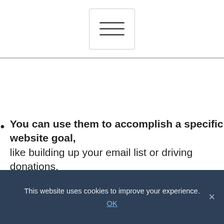[Figure (other): Hamburger menu button icon with three horizontal lines inside a rounded rectangle border]
You can use them to accomplish a specific website goal, like building up your email list or driving donations.
They focus attention to something important. Use a popup to direct all of a reader's attention to one specific action.
Sometimes we all need a little handholding or a little push. I'm reading a website about healthy green smoothies and I'm enjoying the
This website uses cookies to improve your experience.
OK